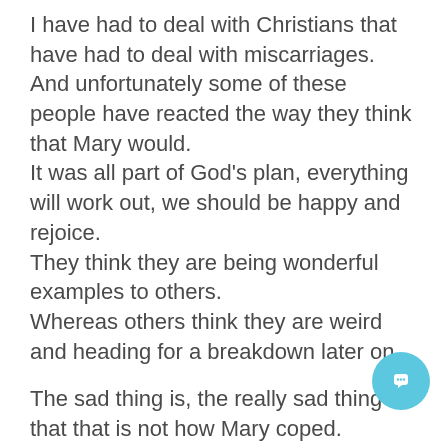I have had to deal with Christians that have had to deal with miscarriages. And unfortunately some of these people have reacted the way they think that Mary would. It was all part of God's plan, everything will work out, we should be happy and rejoice. They think they are being wonderful examples to others. Whereas others think they are weird and heading for a breakdown later on.
The sad thing is, the really sad thing is, that that is not how Mary coped. Mary coped by being real, and acting real, and doing what we should all crisis, seeking the practical help that